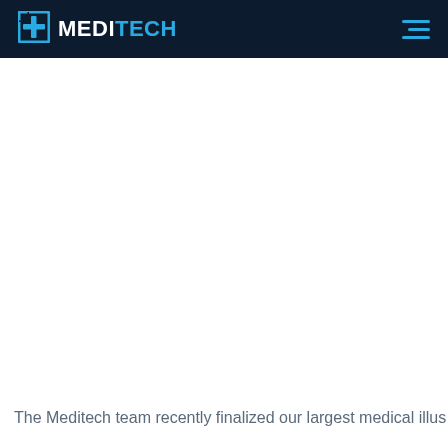MEDITECH
[Figure (logo): MEDITECH logo with icon on dark navy header bar, hamburger menu icon on the right]
The Meditech team recently finalized our largest medical illus